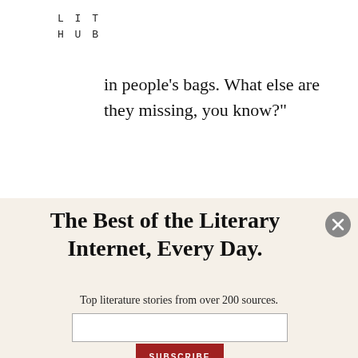LIT
HUB
in people’s bags. What else are they missing, you know?”
The Best of the Literary Internet, Every Day.
Top literature stories from over 200 sources.